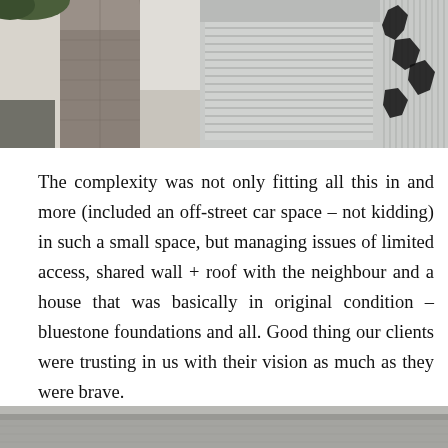[Figure (photo): Top image showing two urban alley/street scenes: left shows a narrow cobblestone laneway between white walls; center shows a commercial roller door shutter with graffiti text above; right shows corrugated metal wall with black graffiti tag.]
The complexity was not only fitting all this in and more (included an off-street car space – not kidding) in such a small space, but managing issues of limited access, shared wall + roof with the neighbour and a house that was basically in original condition – bluestone foundations and all. Good thing our clients were trusting in us with their vision as much as they were brave.
[Figure (photo): Bottom partial image showing a grey urban surface, partially cropped at the bottom of the page.]